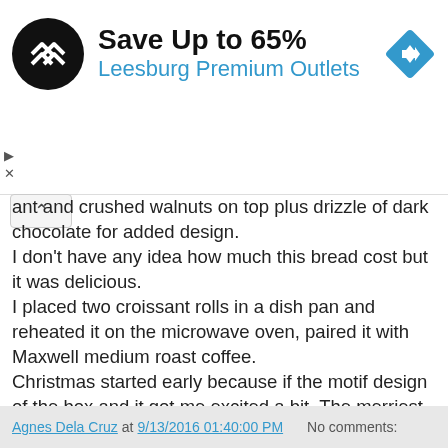[Figure (infographic): Advertisement banner: circular black logo with white double-arrow chevron icon, text 'Save Up to 65%' in bold black, 'Leesburg Premium Outlets' in blue, and a blue diamond-shaped navigation/arrow icon on the right. Small play and close icons on left edge.]
ant and crushed walnuts on top plus drizzle of dark chocolate for added design.
I don't have any idea how much this bread cost but it was delicious.
I placed two croissant rolls in a dish pan and reheated it on the microwave oven, paired it with Maxwell medium roast coffee.
Christmas started early because if the motif design of the box and it got me excited a bit. The merriest season we are all excited for.

Any thoughts on this dark chocolate croissant rolls?
Agnes Dela Cruz at 9/13/2016 01:40:00 PM   No comments: